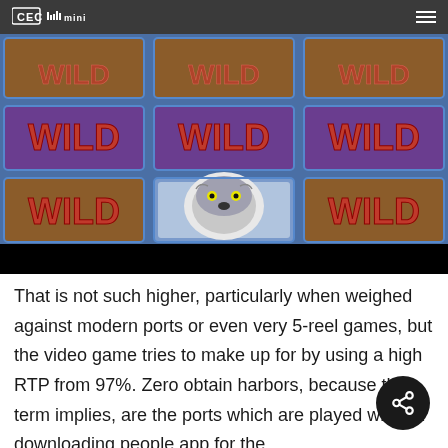CEC mini
[Figure (screenshot): Slot machine game screen showing multiple WILD symbols in a 3x3 grid, with a wolf image in the center bottom cell. The symbols are red text on brownish wooden backgrounds with blue denim-style borders. A navigation bar with CEC logo is overlaid at the top.]
That is not such higher, particularly when weighed against modern ports or even very 5-reel games, but the video game tries to make up for by using a high RTP from 97%. Zero obtain harbors, because their term implies, are the ports which are played without downloading people app for the